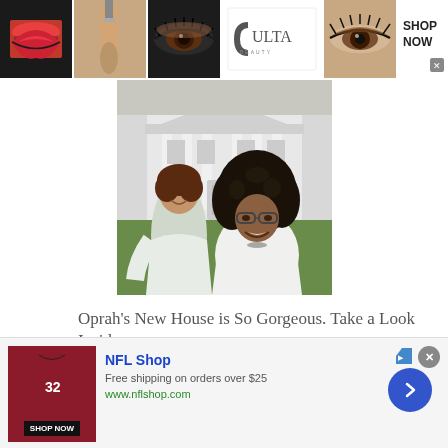[Figure (photo): Ulta Beauty advertisement banner at top with images of lips with lipstick, makeup brush, eye with dramatic makeup, Ulta Beauty logo, eye with dramatic makeup, and SHOP NOW button]
[Figure (photo): Photo of two women standing on the White House lawn smiling. Both are wearing white outfits. The woman in front has large natural hair and glasses. A large white columned building is visible in the background.]
Oprah's New House is So Gorgeous. Take a Look Inside
[Figure (photo): NFL Shop advertisement banner at the bottom with a red jersey image, NFL Shop name, 'Free shipping on orders over $25', www.nflshop.com, SHOP NOW button, and a blue circular arrow button. Close X button at top right.]